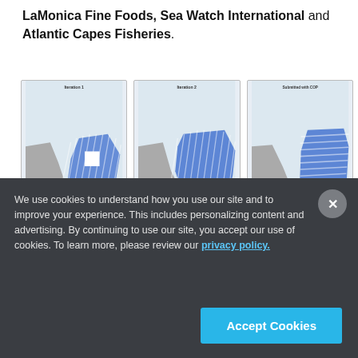LaMonica Fine Foods, Sea Watch International and Atlantic Capes Fisheries.
[Figure (map): Three side-by-side nautical/fishery maps showing different iterations of a blue-hatched area zone. Left map labeled 'Iteration 1', middle labeled 'Iteration 2', right labeled 'Submitted with COP'. Each shows a blue cross-hatched polygon overlaid on a light nautical chart background with gray land masses.]
We use cookies to understand how you use our site and to improve your experience. This includes personalizing content and advertising. By continuing to use our site, you accept our use of cookies. To learn more, please review our privacy policy.